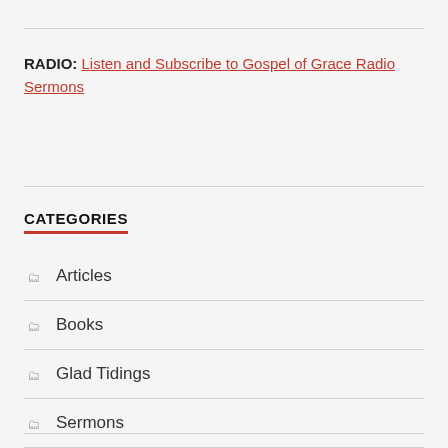RADIO: Listen and Subscribe to Gospel of Grace Radio Sermons
CATEGORIES
Articles
Books
Glad Tidings
Sermons